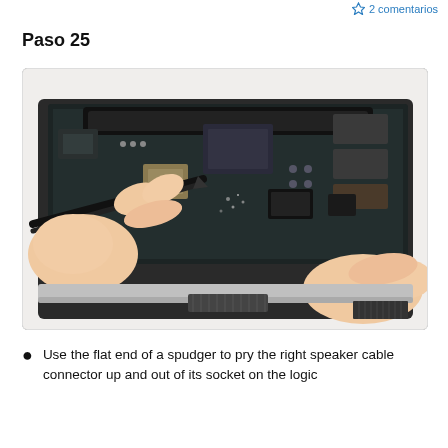2 comentarios
Paso 25
[Figure (photo): Hands using a spudger tool to pry a right speaker cable connector up and out of its socket on a MacBook logic board. The circuit board is visible with various chips and components. A black pry tool is held in the left hand while the right hand stabilizes the laptop.]
Use the flat end of a spudger to pry the right speaker cable connector up and out of its socket on the logic